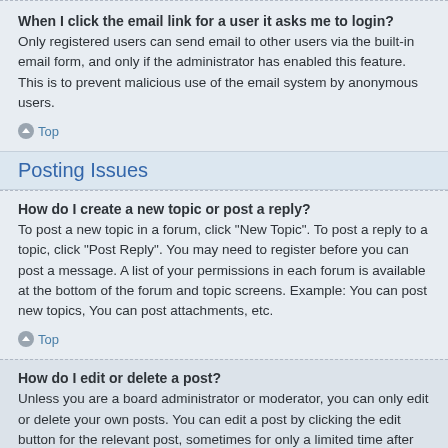When I click the email link for a user it asks me to login?
Only registered users can send email to other users via the built-in email form, and only if the administrator has enabled this feature. This is to prevent malicious use of the email system by anonymous users.
Top
Posting Issues
How do I create a new topic or post a reply?
To post a new topic in a forum, click "New Topic". To post a reply to a topic, click "Post Reply". You may need to register before you can post a message. A list of your permissions in each forum is available at the bottom of the forum and topic screens. Example: You can post new topics, You can post attachments, etc.
Top
How do I edit or delete a post?
Unless you are a board administrator or moderator, you can only edit or delete your own posts. You can edit a post by clicking the edit button for the relevant post, sometimes for only a limited time after the post was made. If someone has already replied to the post, you will find a small piece of text output below the post when you return to the topic which lists the number of times you edited it along with the date and time. This will only appear if someone has made a reply; it will not appear if a moderator or administrator edited the post, though they